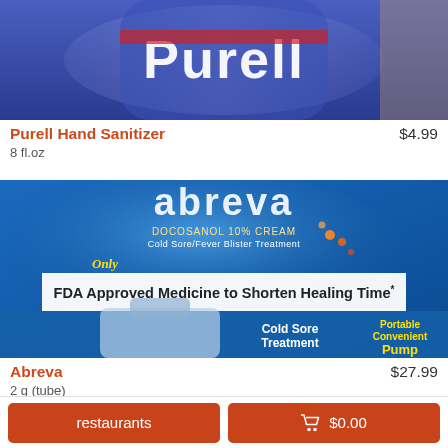[Figure (photo): Purell Hand Sanitizer bottle with blue label showing Purell branding]
Purell Hand Sanitizer    $4.99
8 fl.oz
[Figure (photo): Abreva Docosanol 10% Cream Cold Sore/Fever Blister Treatment pump with label reading 'Only FDA Approved Medicine to Shorten Healing Time*', Cold Sore Treatment, Portable Convenient Pump]
Abreva    $27.99
2 g (tube)
restaurants    🛒 $0.00